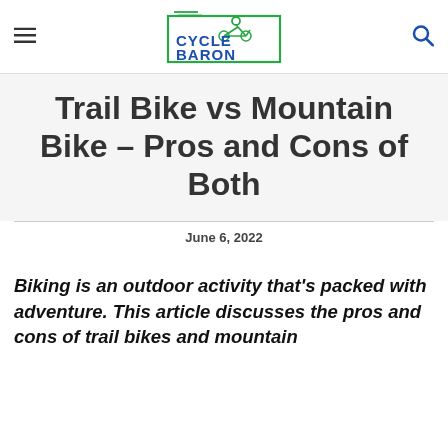CYCLE BARON
Trail Bike vs Mountain Bike – Pros and Cons of Both
June 6, 2022
Biking is an outdoor activity that's packed with adventure. This article discusses the pros and cons of trail bikes and mountain